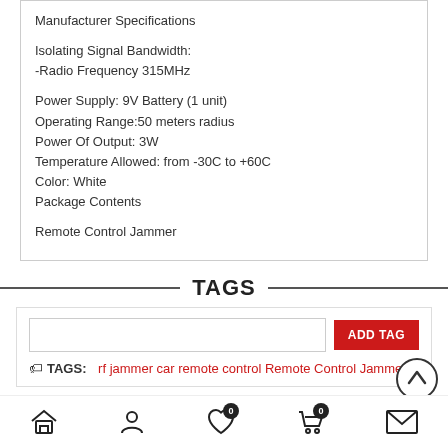Manufacturer Specifications

Isolating Signal Bandwidth:
-Radio Frequency 315MHz

Power Supply: 9V Battery (1 unit)
Operating Range:50 meters radius
Power Of Output: 3W
Temperature Allowed: from -30C to +60C
Color: White
Package Contents

Remote Control Jammer
TAGS
TAGS: rf jammer car remote control Remote Control Jammer
REVIEWS
[Figure (other): Bottom navigation bar with icons: home, user/account, heart/wishlist (with badge 0), shopping cart (with badge 0), and envelope/mail. Also includes a scroll-to-top button (chevron up circle).]